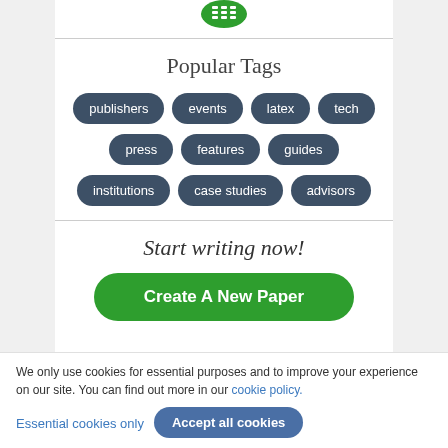[Figure (logo): Green rounded icon at top]
Popular Tags
publishers
events
latex
tech
press
features
guides
institutions
case studies
advisors
Start writing now!
Create A New Paper
We only use cookies for essential purposes and to improve your experience on our site. You can find out more in our cookie policy.
Essential cookies only
Accept all cookies